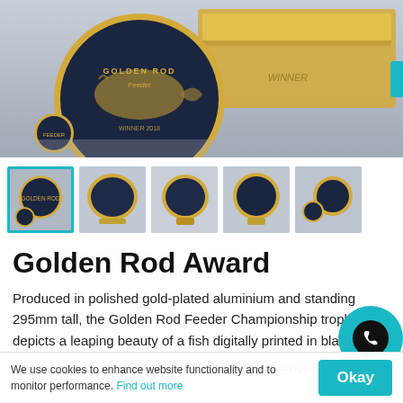[Figure (photo): Main product photo: Golden Rod Award trophy in gold-plated aluminium with a dark medallion showing a fish, in a gold presentation box, on grey background.]
[Figure (photo): Thumbnail 1 (selected): Golden Rod Award trophy shown from front with small coin.]
[Figure (photo): Thumbnail 2: Golden Rod Award trophy side profile.]
[Figure (photo): Thumbnail 3: Golden Rod Award trophy angled view on stand.]
[Figure (photo): Thumbnail 4: Golden Rod Award trophy front view on stand.]
[Figure (photo): Thumbnail 5: Golden Rod Award trophy with small coin, side view.]
Golden Rod Award
Produced in polished gold-plated aluminium and standing 295mm tall, the Golden Rod Feeder Championship trophy depicts a leaping beauty of a fish digitally printed in black.
For the full story view our news feature on the eve
We use cookies to enhance website functionality and to monitor performance. Find out more